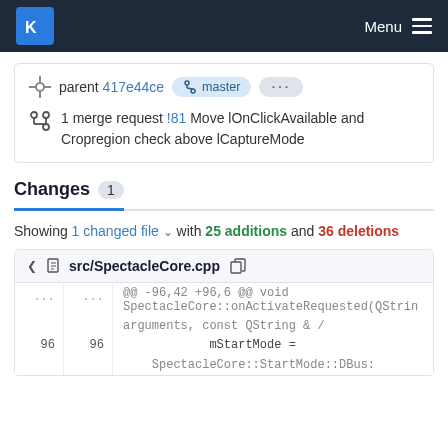KDE Menu
parent 417e44ce  master  ...
1 merge request !81 Move lOnClickAvailable and Cropregion check above lCaptureMode
Changes 1
Showing 1 changed file with 25 additions and 36 deletions
src/SpectacleCore.cpp
@@ -96,42 +96,6 @@ void SpectacleCore::onActivateRequested(QStrin arguments, const QString & /
96  96  mStartMode =
    SpectacleCore::StartMode::DBus: